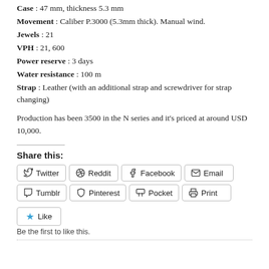Case : 47 mm, thickness 5.3 mm
Movement : Caliber P.3000 (5.3mm thick). Manual wind.
Jewels : 21
VPH : 21, 600
Power reserve : 3 days
Water resistance : 100 m
Strap : Leather (with an additional strap and screwdriver for strap changing)
Production has been 3500 in the N series and it's priced at around USD 10,000.
Share this:
Twitter  Reddit  Facebook  Email  Tumblr  Pinterest  Pocket  Print
Like
Be the first to like this.